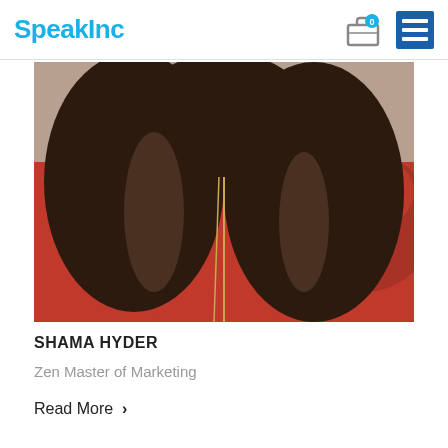SpeakInc
[Figure (photo): Close-up photo of Shama Hyder, a woman with long dark wavy hair wearing a red top and a long chain necklace]
SHAMA HYDER
Zen Master of Marketing
Read More  >